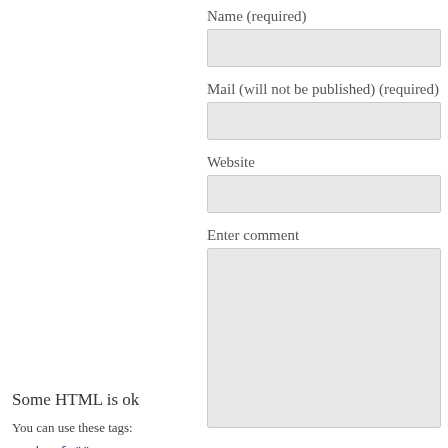Name (required)
Mail (will not be published) (required)
Website
Enter comment
Some HTML is ok
You can use these tags:
<a href="" title="">
<abbr title="">
<b>
<blockquote
cite="">